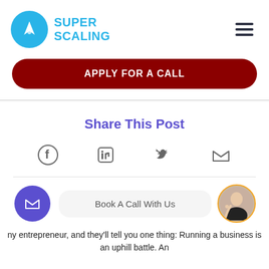[Figure (logo): Super Scaling logo with blue rocket circle icon and blue SUPER SCALING text]
[Figure (other): Hamburger menu icon (three horizontal lines)]
APPLY FOR A CALL
Share This Post
[Figure (infographic): Social media share icons: Facebook, LinkedIn, Twitter, Email]
[Figure (infographic): Email circle button (purple) and person avatar (waving man with orange border)]
Book A Call With Us
ny entrepreneur, and they'll tell you one thing: Running a business is an uphill battle. An